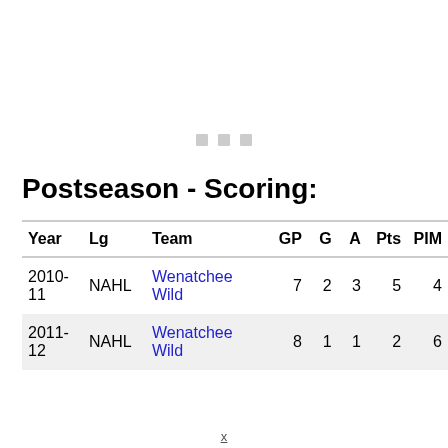[Figure (other): Three small gray square loading indicator dots]
Postseason - Scoring:
| Year | Lg | Team | GP | G | A | Pts | PIM |
| --- | --- | --- | --- | --- | --- | --- | --- |
| 2010-11 | NAHL | Wenatchee Wild | 7 | 2 | 3 | 5 | 4 |
| 2011-12 | NAHL | Wenatchee Wild | 8 | 1 | 1 | 2 | 6 |
x